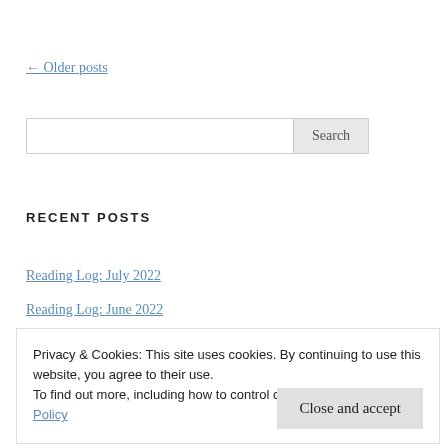← Older posts
[Figure (screenshot): Search input field with Search button]
RECENT POSTS
Reading Log: July 2022
Reading Log: June 2022
Reading Log: May 2022
Privacy & Cookies: This site uses cookies. By continuing to use this website, you agree to their use.
To find out more, including how to control cookies, see here: Cookie Policy
Close and accept